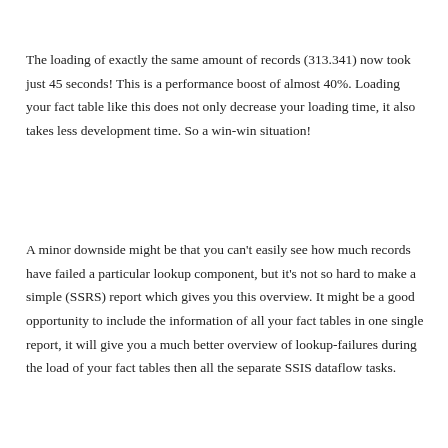The loading of exactly the same amount of records (313.341) now took just 45 seconds! This is a performance boost of almost 40%. Loading your fact table like this does not only decrease your loading time, it also takes less development time. So a win-win situation!
A minor downside might be that you can't easily see how much records have failed a particular lookup component, but it's not so hard to make a simple (SSRS) report which gives you this overview. It might be a good opportunity to include the information of all your fact tables in one single report, it will give you a much better overview of lookup-failures during the load of your fact tables then all the separate SSIS dataflow tasks.